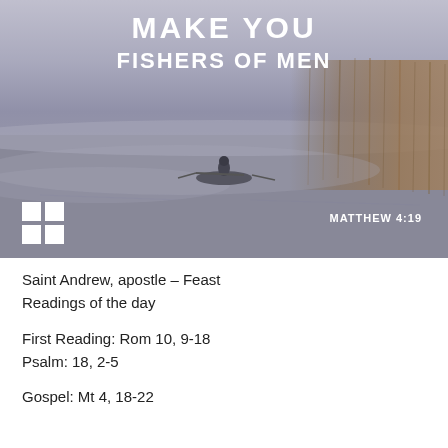[Figure (photo): A misty lake scene with a person rowing a boat, reeds visible on the right bank under foggy grey-blue sky. Overlaid text reads 'MAKE YOU FISHERS OF MEN' at top, a cross logo at bottom-left, and 'MATTHEW 4:19' at bottom-right.]
Saint Andrew, apostle – Feast
Readings of the day
First Reading: Rom 10, 9-18
Psalm: 18, 2-5
Gospel: Mt 4, 18-22